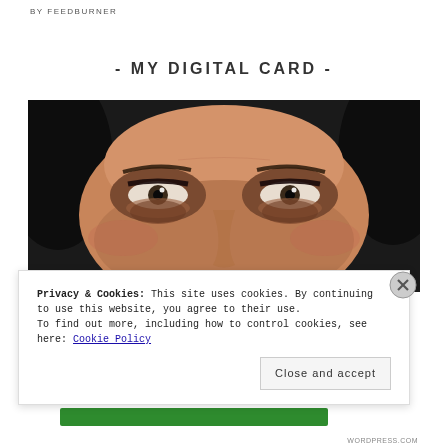BY FEEDBURNER
- MY DIGITAL CARD -
[Figure (photo): Close-up photo of a woman's face, showing her eyes prominently with dark eye makeup, olive skin tone, partial hair visible at edges.]
Privacy & Cookies: This site uses cookies. By continuing to use this website, you agree to their use.
To find out more, including how to control cookies, see here: Cookie Policy
Close and accept